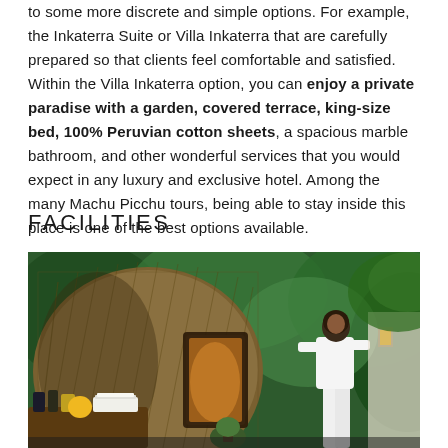to some more discrete and simple options. For example, the Inkaterra Suite or Villa Inkaterra that are carefully prepared so that clients feel comfortable and satisfied. Within the Villa Inkaterra option, you can enjoy a private paradise with a garden, covered terrace, king-size bed, 100% Peruvian cotton sheets, a spacious marble bathroom, and other wonderful services that you would expect in any luxury and exclusive hotel. Among the many Machu Picchu tours, being able to stay inside this place is one of the best options available.
FACILITIES
[Figure (photo): A woman in white uniform attending to a traditional thatched-roof spa hut surrounded by lush green tropical vegetation at what appears to be Inkaterra hotel spa. Spa supplies and towels are visible on a wooden table in the foreground.]